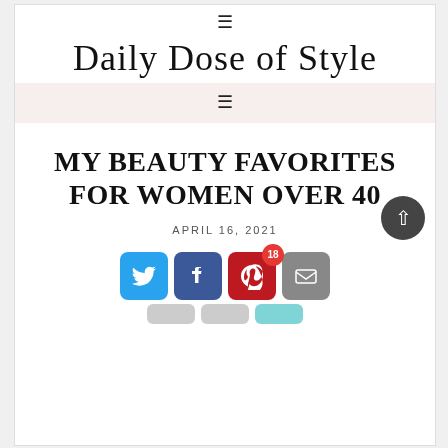[Figure (logo): Hamburger menu icon (three horizontal lines) centered at top of white header area]
Daily Dose of Style
[Figure (logo): Hamburger menu icon (three horizontal lines) centered in a pink/blush navigation bar]
MY BEAUTY FAVORITES FOR WOMEN OVER 40
APRIL 16, 2021
[Figure (infographic): Social sharing icons row: Twitter (blue bird), Facebook (blue f), Pinterest (red P with badge showing 18), Email (grey envelope). A dark circular scroll-to-top button is visible at right side.]